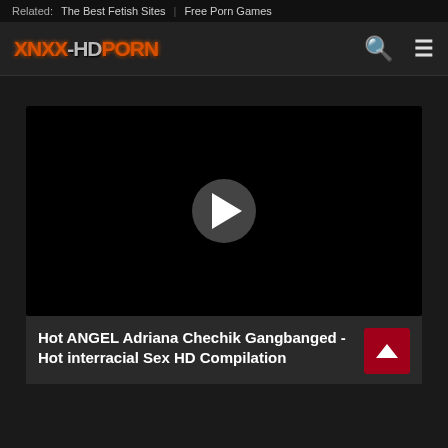Related: The Best Fetish Sites Free Porn Games
[Figure (logo): XNXX-HDPORN logo with flame/fire styled lettering in orange and grey]
[Figure (screenshot): Black video player with circular grey play button in the center]
Hot ANGEL Adriana Chechik Gangbanged - Hot interracial Sex HD Compilation